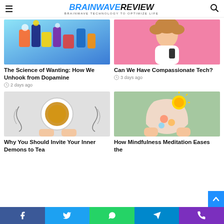BRAINWAVE REVIEW — Brainwave Technology to Optimize Life
[Figure (photo): Colorful abstract illustration with blue, orange, purple and white figures in an urban environment]
The Science of Wanting: How We Unhook from Dopamine
2 days ago
[Figure (photo): Young woman with curly hair smiling and holding a phone against pink background]
Can We Have Compassionate Tech?
3 days ago
[Figure (photo): Overhead view of a cup of tea with ornate swirl decorations against marble background]
Why You Should Invite Your Inner Demons to Tea
[Figure (photo): Hands holding a paper head cutout with sun and flowers, on green background]
How Mindfulness Meditation Eases the
Facebook | Twitter | WhatsApp | Telegram | Phone